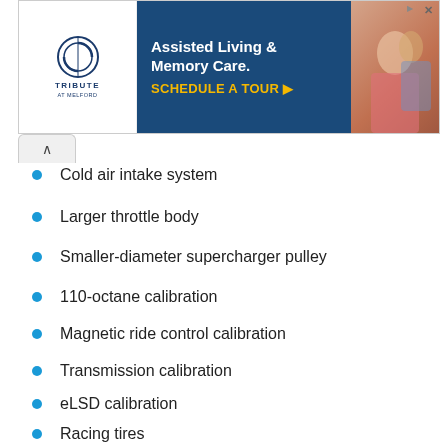[Figure (other): Advertisement banner for Tribute at Melford Assisted Living and Memory Care with 'Schedule a Tour' call to action]
Cold air intake system
Larger throttle body
Smaller-diameter supercharger pulley
110-octane calibration
Magnetic ride control calibration
Transmission calibration
eLSD calibration
Racing tires
Racing driver's seat with five-point harness
Roll cage
CHEVROLET PERFORMANCE DRAG